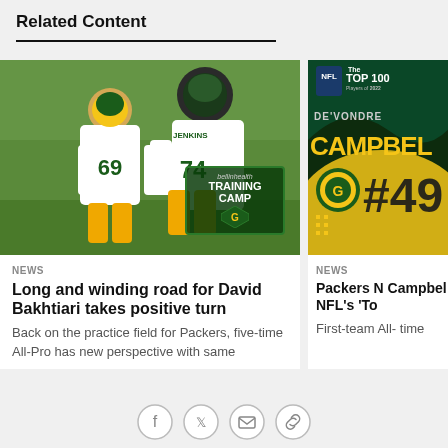Related Content
[Figure (photo): Green Bay Packers players #69 and #74 Jenkins at training camp, wearing white jerseys and gold pants, with a Bellin Health Training Camp badge overlay]
NEWS
Long and winding road for David Bakhtiari takes positive turn
Back on the practice field for Packers, five-time All-Pro has new perspective with same
[Figure (photo): NFL Top 100 Players of 2022 graphic featuring De'Vondre Campbell #49 with Green Bay Packers logo]
NEWS
Packers N Campbell NFL's 'To
First-team All- time